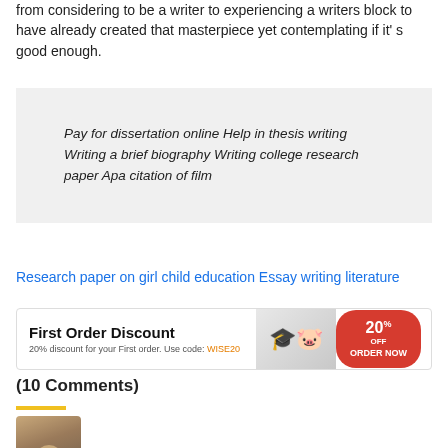from considering to be a writer to experiencing a writers block to have already created that masterpiece yet contemplating if it' s good enough.
Pay for dissertation online Help in thesis writing Writing a brief biography Writing college research paper Apa citation of film
Research paper on girl child education Essay writing literature
[Figure (infographic): First Order Discount banner: 20% off order now. 20% discount for your First order. Use code: WISE20]
(10 Comments)
[Figure (photo): Avatar/profile photo of a person]